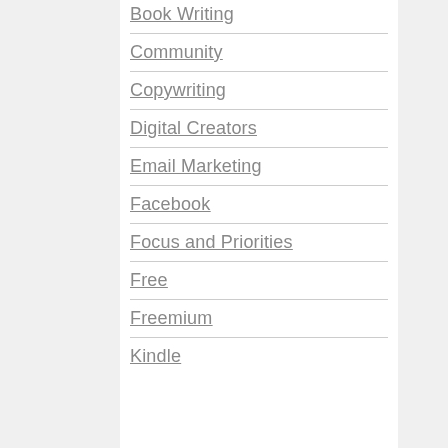Book Writing
Community
Copywriting
Digital Creators
Email Marketing
Facebook
Focus and Priorities
Free
Freemium
Kindle